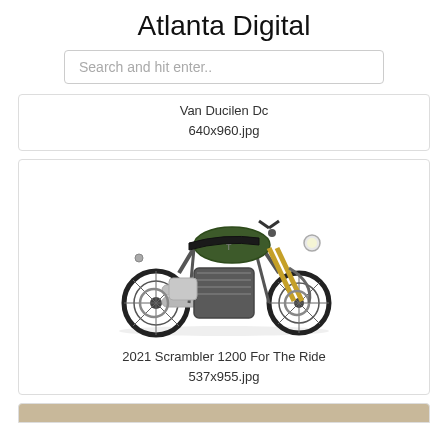Atlanta Digital
Search and hit enter..
Van Ducilen Dc
640x960.jpg
[Figure (photo): Green Triumph Scrambler 1200 motorcycle on white background, side view]
2021 Scrambler 1200 For The Ride
537x955.jpg